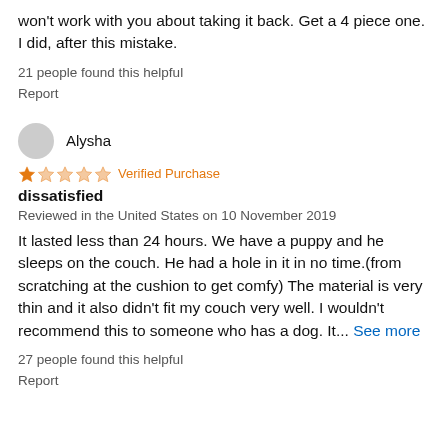won't work with you about taking it back. Get a 4 piece one. I did, after this mistake.
21 people found this helpful
Report
Alysha
1 star Verified Purchase
dissatisfied
Reviewed in the United States on 10 November 2019
It lasted less than 24 hours. We have a puppy and he sleeps on the couch. He had a hole in it in no time.(from scratching at the cushion to get comfy) The material is very thin and it also didn't fit my couch very well. I wouldn't recommend this to someone who has a dog. It... See more
27 people found this helpful
Report